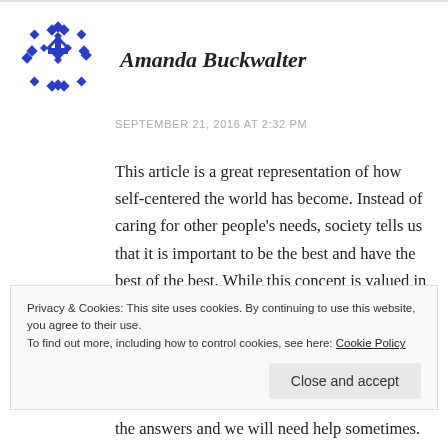[Figure (illustration): Blue snowflake/geometric avatar icon for user Amanda Buckwalter]
Amanda Buckwalter
SEPTEMBER 21, 2016 AT 2:32 PM
This article is a great representation of how self-centered the world has become. Instead of caring for other people's needs, society tells us that it is important to be the best and have the best of the best. While this concept is valued in the world, it is not valued in God's eyes. In Dr. Green's Intro to Marketing class at Oklahoma
Privacy & Cookies: This site uses cookies. By continuing to use this website, you agree to their use.
To find out more, including how to control cookies, see here: Cookie Policy
Close and accept
the answers and we will need help sometimes.